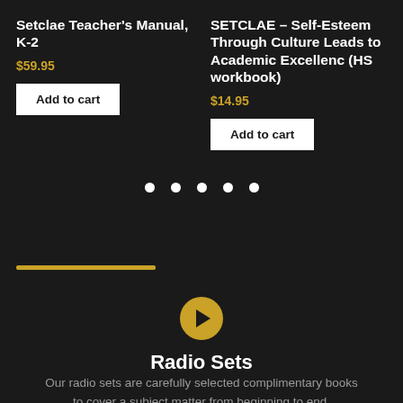Setclae Teacher's Manual, K-2
$59.95
Add to cart
SETCLAE – Self-Esteem Through Culture Leads to Academic Excellenc (HS workbook)
$14.95
Add to cart
[Figure (other): Five white navigation dots in a row]
[Figure (other): Gold horizontal rule/underline decoration]
[Figure (other): Gold circle with right-pointing arrow icon]
Radio Sets
Our radio sets are carefully selected complimentary books to cover a subject matter from beginning to end.